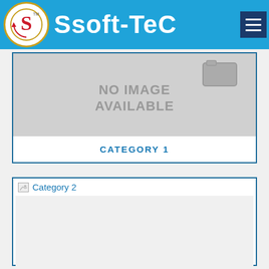Ssoft-TeC
[Figure (other): No image available placeholder with gray background]
CATEGORY 1
[Figure (other): Category 2 card with broken image placeholder]